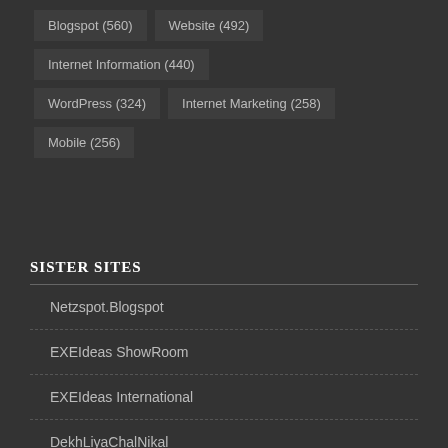Blogspot (560)
Website (492)
Internet Information (440)
WordPress (324)
Internet Marketing (258)
Mobile (256)
SISTER SITES
Netzspot.Blogspot
EXEIdeas ShowRoom
EXEIdeas International
DekhLiyaChalNikal